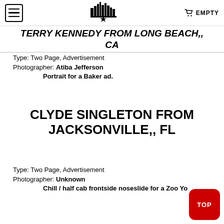TERRY KENNEDY FROM LONG BEACH,, CA
TERRY KENNEDY FROM LONG BEACH,, CA
Type: Two Page, Advertisement
Photographer: Atiba Jefferson
Portrait for a Baker ad.
CLYDE SINGLETON FROM JACKSONVILLE,, FL
Type: Two Page, Advertisement
Photographer: Unknown
Chill / half cab frontside noseslide for a Zoo Yo...
TOP